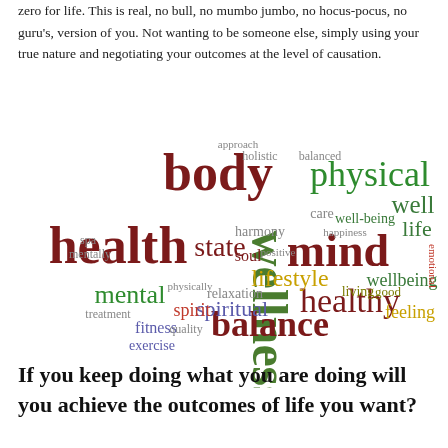zero for life. This is real, no bull, no mumbo jumbo, no hocus-pocus, no guru's, version of you. Not wanting to be someone else, simply using your true nature and negotiating your outcomes at the level of causation.
[Figure (other): A word cloud featuring wellness-related terms. Largest words: body, health, wellness, mind, physical, balance, healthy, mental, lifestyle, spiritual, spirit, state, soul, well, life, wellbeing, feeling, living, fitness, exercise, relaxation, harmony, care, well-being, emotional, holistic, balanced, approach, spa, quality, positive, treatment, mentally, physically, good.]
If you keep doing what you are doing will you achieve the outcomes of life you want?